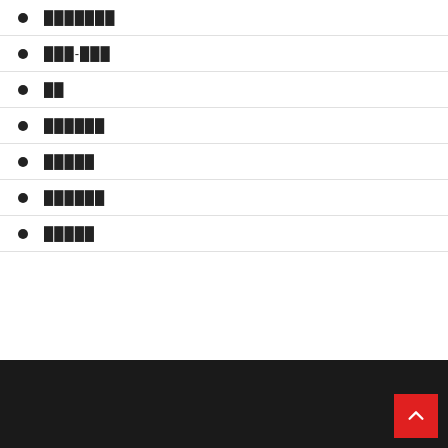███████
███-███
██
██████
█████
██████
█████